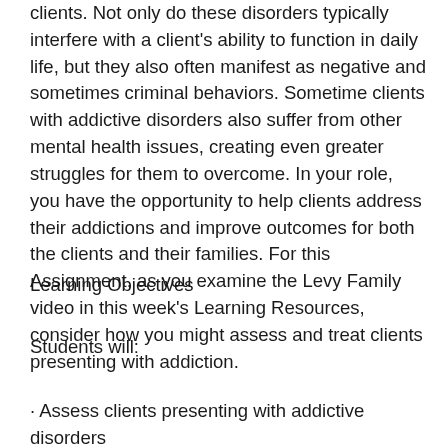clients. Not only do these disorders typically interfere with a client's ability to function in daily life, but they also often manifest as negative and sometimes criminal behaviors. Sometime clients with addictive disorders also suffer from other mental health issues, creating even greater struggles for them to overcome. In your role, you have the opportunity to help clients address their addictions and improve outcomes for both the clients and their families. For this Assignment, as you examine the Levy Family video in this week's Learning Resources, consider how you might assess and treat clients presenting with addiction.
Learning Objectives
Students will:
· Assess clients presenting with addictive disorders